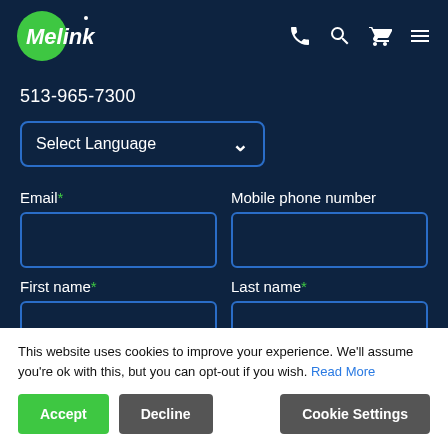Melink — navigation bar with phone, search, cart, menu icons
513-965-7300
Select Language
Email* — form input field
Mobile phone number — form input field
First name* — form input field
Last name* — form input field
This website uses cookies to improve your experience. We'll assume you're ok with this, but you can opt-out if you wish. Read More
Accept | Decline | Cookie Settings